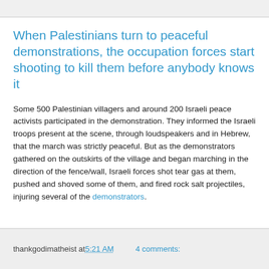When Palestinians turn to peaceful demonstrations, the occupation forces start shooting to kill them before anybody knows it
Some 500 Palestinian villagers and around 200 Israeli peace activists participated in the demonstration. They informed the Israeli troops present at the scene, through loudspeakers and in Hebrew, that the march was strictly peaceful. But as the demonstrators gathered on the outskirts of the village and began marching in the direction of the fence/wall, Israeli forces shot tear gas at them, pushed and shoved some of them, and fired rock salt projectiles, injuring several of the demonstrators.
thankgodimatheist at 5:21 AM    4 comments: